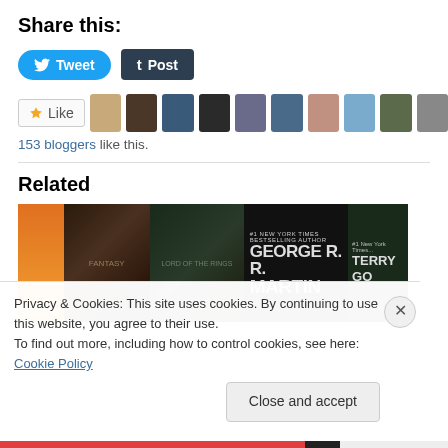Share this:
[Figure (screenshot): Twitter Tweet button (blue rounded) and Tumblr Post button (dark)]
[Figure (screenshot): Like button with star icon and row of blogger avatars]
153 bloggers like this.
Related
[Figure (screenshot): Banner of book covers including Lord of the Rings, George R.R. Martin, Terry Go...]
Privacy & Cookies: This site uses cookies. By continuing to use this website, you agree to their use.
To find out more, including how to control cookies, see here: Cookie Policy
Close and accept